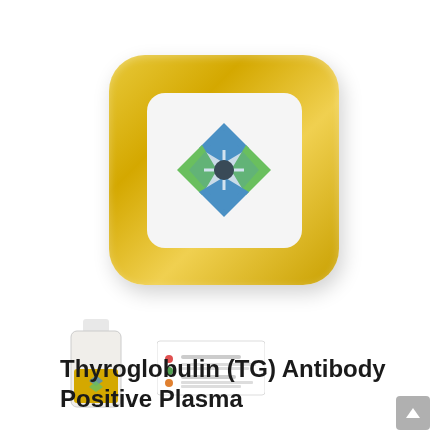[Figure (photo): Large gold-colored product container box with rounded corners and a white inset panel displaying a diamond-shaped blue and green logo. The box has a glossy, metallic gold finish.]
[Figure (photo): Small thumbnail image of a clear glass bottle with a gold label showing the same diamond logo, product sample bottle.]
[Figure (photo): Small thumbnail image of a product data sheet or specification card with colored dots and text lines.]
Thyroglobulin (TG) Antibody Positive Plasma